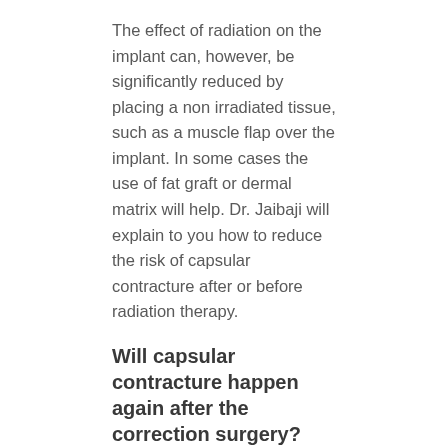The effect of radiation on the implant can, however, be significantly reduced by placing a non irradiated tissue, such as a muscle flap over the implant. In some cases the use of fat graft or dermal matrix will help. Dr. Jaibaji will explain to you how to reduce the risk of capsular contracture after or before radiation therapy.
Will capsular contracture happen again after the correction surgery?
Yes it can happen again. Although with good surgery and good after surgery care the ribs is lower.
Recurrent Capsular Contracture San Diego
Recurrent capsular contracture is a challenging problem. Recurrence of the capsular contracture